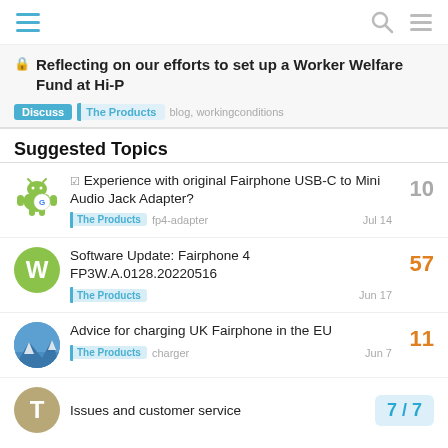Navigation header with hamburger menu, search icon, and menu icon
Reflecting on our efforts to set up a Worker Welfare Fund at Hi-P
Discuss | The Products | blog, workingconditions
Suggested Topics
Experience with original Fairphone USB-C to Mini Audio Jack Adapter?
The Products  fp4-adapter  Jul 14  10
Software Update: Fairphone 4 FP3W.A.0128.20220516
The Products  Jun 17  57
Advice for charging UK Fairphone in the EU
The Products  charger  Jun 7  11
Issues and customer service  7/7